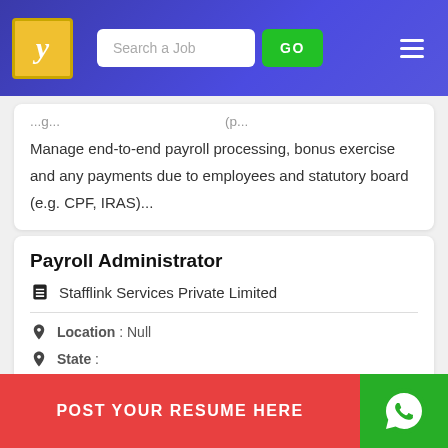Search a Job | GO
Manage end-to-end payroll processing, bonus exercise and any payments due to employees and statutory board (e.g. CPF, IRAS)...
Payroll Administrator
Stafflink Services Private Limited
Location : Null
State :
POST YOUR RESUME HERE
Roles & Responsibilities Semiconductor MNC Monday to Friday (